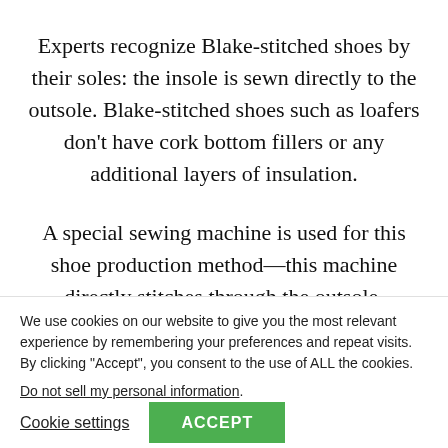Experts recognize Blake-stitched shoes by their soles: the insole is sewn directly to the outsole. Blake-stitched shoes such as loafers don't have cork bottom fillers or any additional layers of insulation.
A special sewing machine is used for this shoe production method—this machine directly stitches through the outsole, insole and bottom edge of the shoe shaft, connecting them...
We use cookies on our website to give you the most relevant experience by remembering your preferences and repeat visits. By clicking "Accept", you consent to the use of ALL the cookies.
Do not sell my personal information.
Cookie settings
ACCEPT